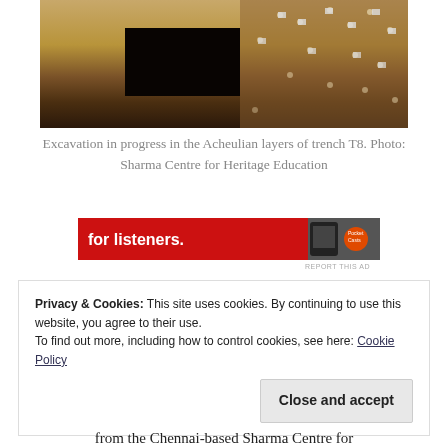[Figure (photo): Archaeological excavation in progress showing Acheulian layers of trench T8, with a dark rectangular pit cut into layered brown and sandy soil, with small white markers scattered across the surface.]
Excavation in progress in the Acheulian layers of trench T8. Photo: Sharma Centre for Heritage Education
[Figure (screenshot): Advertisement banner with red background showing text 'for listeners.' with a phone image and Pocket Casts logo]
REPORT THIS AD
Privacy & Cookies: This site uses cookies. By continuing to use this website, you agree to their use.
To find out more, including how to control cookies, see here: Cookie Policy
from the Chennai-based Sharma Centre for